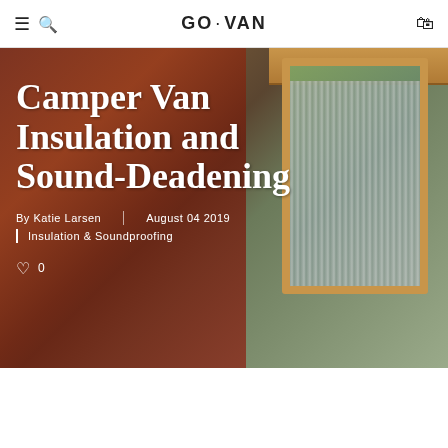GO·VAN
[Figure (photo): Woman in red plaid shirt installing reflective bubble insulation in a camper van window with a wooden frame. Hero image for blog article.]
Camper Van Insulation and Sound-Deadening
By Katie Larsen   August 04 2019
Insulation & Soundproofing
0